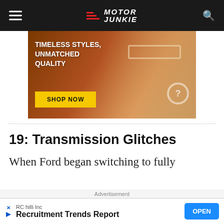Motor Junkie
[Figure (photo): Advertisement banner showing a woman wearing oversized sunglasses and beige outfit with text 'TIMELESS STYLES, UNMATCHED QUALITY' and a yellow 'SHOP NOW' button]
19: Transmission Glitches
When Ford began switching to fully
Advertisement
[Figure (infographic): Bottom advertisement: RC hilli Inc - Recruitment Trends Report with OPEN button]